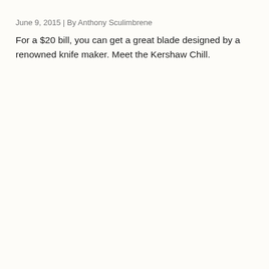June 9, 2015 | By Anthony Sculimbrene
For a $20 bill, you can get a great blade designed by a renowned knife maker. Meet the Kershaw Chill.